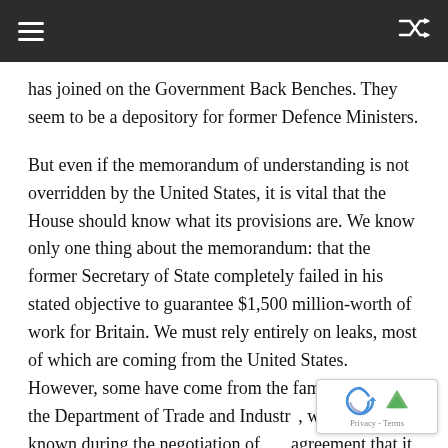≡   ⇌
has joined on the Government Back Benches. They seem to be a depository for former Defence Ministers.
But even if the memorandum of understanding is not overridden by the United States, it is vital that the House should know what its provisions are. We know only one thing about the memorandum: that the former Secretary of State completely failed in his stated objective to guarantee $1,500 million-worth of work for Britain. We must rely entirely on leaks, most of which are coming from the United States. However, some have come from the familiar source—the Department of Trade and Industry, which let it be known during the negotiation of agreement that it was unhappy about the right...